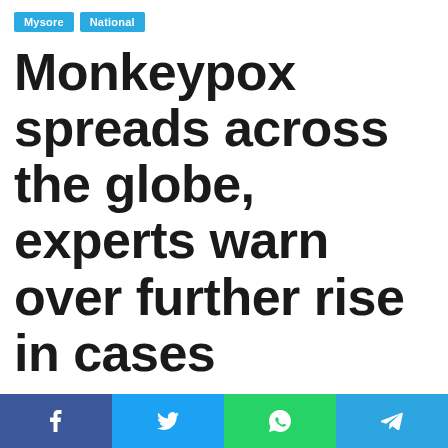Mysore  National
Monkeypox spreads across the globe, experts warn over further rise in cases
Israel reports first case of monkeypox, suspects others
CTBUREAU_NGB  23/05/2022
f  y  (whatsapp icon)  (telegram icon)